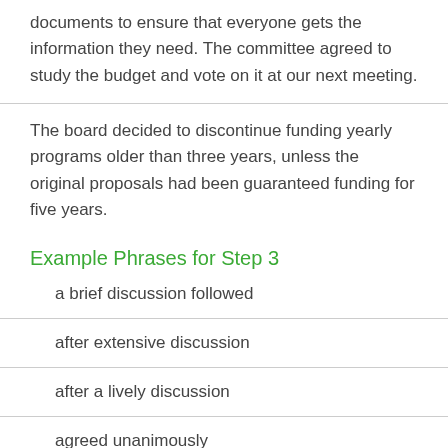documents to ensure that everyone gets the information they need. The committee agreed to study the budget and vote on it at our next meeting.
The board decided to discontinue funding yearly programs older than three years, unless the original proposals had been guaranteed funding for five years.
Example Phrases for Step 3
a brief discussion followed
after extensive discussion
after a lively discussion
agreed unanimously